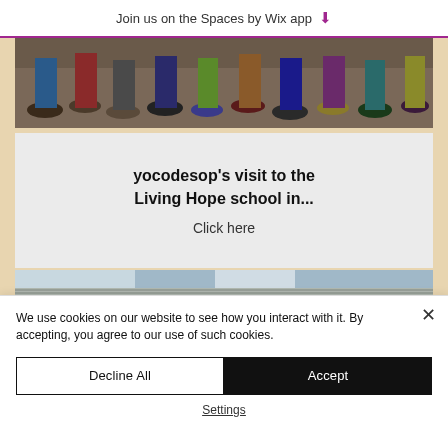Join us on the Spaces by Wix app
[Figure (photo): Photo showing feet and shoes of several people standing together on a dirt ground]
yocodesop's visit to the Living Hope school in...
Click here
[Figure (photo): Photo of a corrugated metal roof with cloudy sky in background]
We use cookies on our website to see how you interact with it. By accepting, you agree to our use of such cookies.
Decline All
Accept
Settings